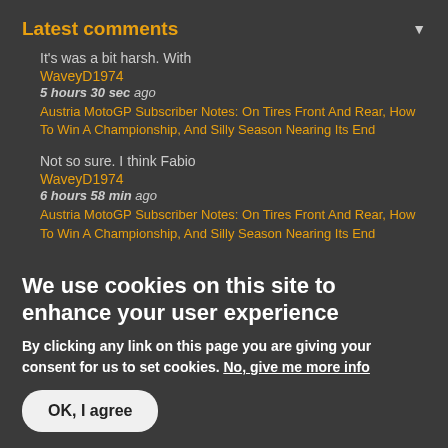Latest comments
It's was a bit harsh. With
WaveyD1974
5 hours 30 sec ago
Austria MotoGP Subscriber Notes: On Tires Front And Rear, How To Win A Championship, And Silly Season Nearing Its End
Not so sure. I think Fabio
WaveyD1974
6 hours 58 min ago
Austria MotoGP Subscriber Notes: On Tires Front And Rear, How To Win A Championship, And Silly Season Nearing Its End
We use cookies on this site to enhance your user experience
By clicking any link on this page you are giving your consent for us to set cookies. No, give me more info
OK, I agree